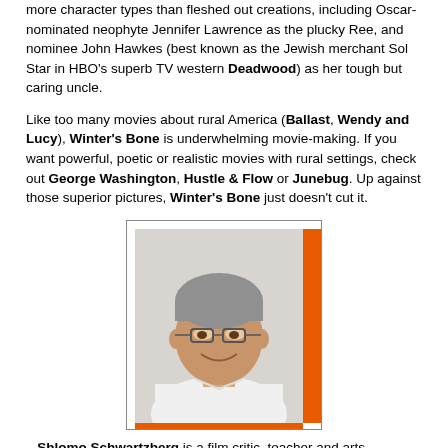more character types than fleshed out creations, including Oscar-nominated neophyte Jennifer Lawrence as the plucky Ree, and nominee John Hawkes (best known as the Jewish merchant Sol Star in HBO's superb TV western Deadwood) as her tough but caring uncle.
Like too many movies about rural America (Ballast, Wendy and Lucy), Winter's Bone is underwhelming movie-making. If you want powerful, poetic or realistic movies with rural settings, check out George Washington, Hustle & Flow or Junebug. Up against those superior pictures, Winter's Bone just doesn't cut it.
[Figure (photo): Portrait photo of Shlomo Schwartzberg, a middle-aged man with grey hair wearing a white t-shirt, smiling. Photo is framed with an orange L-shaped bracket on the right and bottom sides, inside a thin rectangular border.]
– Shlomo Schwartzberg is a film critic, teacher and arts journalist based